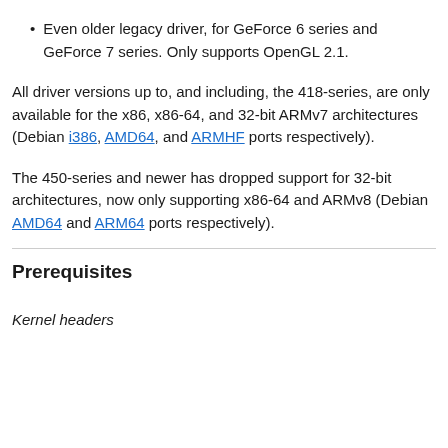Even older legacy driver, for GeForce 6 series and GeForce 7 series. Only supports OpenGL 2.1.
All driver versions up to, and including, the 418-series, are only available for the x86, x86-64, and 32-bit ARMv7 architectures (Debian i386, AMD64, and ARMHF ports respectively).
The 450-series and newer has dropped support for 32-bit architectures, now only supporting x86-64 and ARMv8 (Debian AMD64 and ARM64 ports respectively).
Prerequisites
Kernel headers